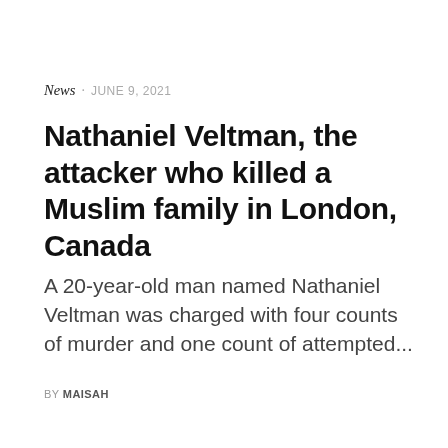News · JUNE 9, 2021
Nathaniel Veltman, the attacker who killed a Muslim family in London, Canada
A 20-year-old man named Nathaniel Veltman was charged with four counts of murder and one count of attempted...
BY MAISAH